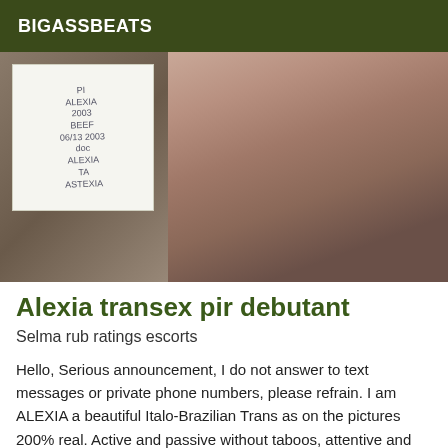BIGASSBEATS
[Figure (photo): A person holding a handwritten note card with text, selfie-style photo]
Alexia transex pir debutant
Selma rub ratings escorts
Hello, Serious announcement, I do not answer to text messages or private phone numbers, please refrain. I am ALEXIA a beautiful Italo-Brazilian Trans as on the pictures 200% real. Active and passive without taboos, attentive and very sexy.  Beginners and shy don't